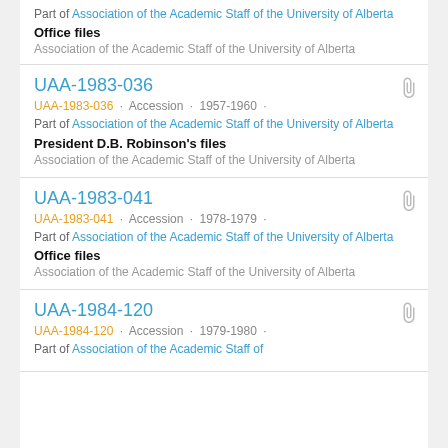Part of Association of the Academic Staff of the University of Alberta
Office files
Association of the Academic Staff of the University of Alberta
UAA-1983-036
UAA-1983-036 · Accession · 1957-1960 ·
Part of Association of the Academic Staff of the University of Alberta
President D.B. Robinson's files
Association of the Academic Staff of the University of Alberta
UAA-1983-041
UAA-1983-041 · Accession · 1978-1979 ·
Part of Association of the Academic Staff of the University of Alberta
Office files
Association of the Academic Staff of the University of Alberta
UAA-1984-120
UAA-1984-120 · Accession · 1979-1980 ·
Part of Association of the Academic Staff of